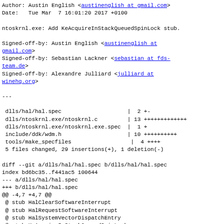Author: Austin English <austinenglish at gmail.com>
Date:   Tue Mar  7 16:01:20 2017 +0100
ntoskrnl.exe: Add KeAcquireInStackQueuedSpinLock stub.
Signed-off-by: Austin English <austinenglish at gmail.com>
Signed-off-by: Sebastian Lackner <sebastian at fds-team.de>
Signed-off-by: Alexandre Julliard <julliard at winehq.org>
---
dlls/hal/hal.spec                    |  2 +-
 dlls/ntoskrnl.exe/ntoskrnl.c         | 13 +++++++++++++
 dlls/ntoskrnl.exe/ntoskrnl.exe.spec  |  1 +
 include/ddk/wdm.h                    | 10 ++++++++++
 tools/make_specfiles                  |  4 ++++
 5 files changed, 29 insertions(+), 1 deletion(-)
diff --git a/dlls/hal/hal.spec b/dlls/hal/hal.spec
index bd6bc35..f441ac5 100644
--- a/dlls/hal/hal.spec
+++ b/dlls/hal/hal.spec
@@ -4,7 +4,7 @@
 @ stub HalClearSoftwareInterrupt
 @ stub HalRequestSoftwareInterrupt
 @ stub HalSystemVectorDispatchEntry
-@ stub KeAcquireInStackQueuedSpinLock
+@ stdcall -norelay KeAcquireInStackQueuedSpinLock(ptr